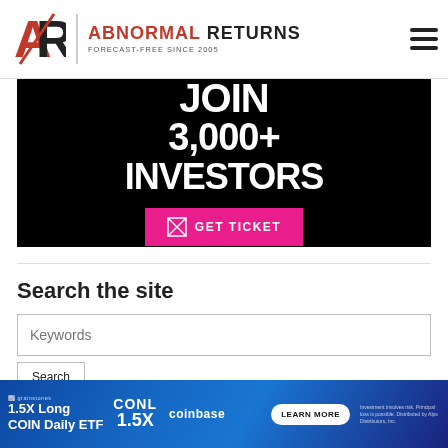Abnormal Returns — FORECAST-FREE SINCE 2005
[Figure (illustration): Promotional advertisement banner with black background. Large white bold text reads 'JOIN 3,000+ INVESTORS' with a pink/magenta 'GET TICKET' button below.]
Search the site
[Figure (illustration): Bottom advertisement banner with blue gradient background for '1.5X Long COIN Daily ETF' (CONL) on Coinbase, with a 'LEARN MORE' button.]